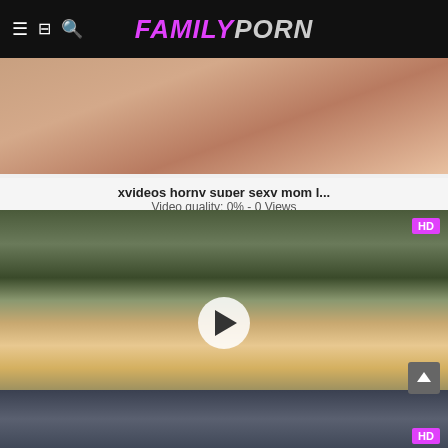FamilyPorn
[Figure (screenshot): Video thumbnail showing close-up skin tones, blurred]
xvideos horny super sexy mom l...
Video quality: 0% - 0 Views
[Figure (screenshot): Outdoor video thumbnail with HD badge and play button overlay, showing two people near graffiti wall]
xvideos blonde mature mom big ...
Video quality: 82% - 0 Views
[Figure (screenshot): Partial thumbnail of third video with HD badge, dark tones]